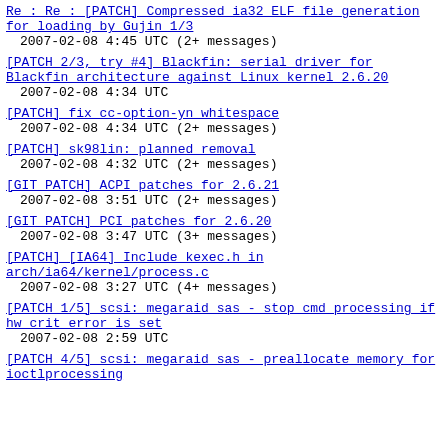Re : Re : [PATCH] Compressed ia32 ELF file generation for loading by Gujin 1/3
2007-02-08  4:45 UTC  (2+ messages)
[PATCH 2/3, try #4] Blackfin: serial driver for Blackfin architecture against Linux kernel 2.6.20
2007-02-08  4:34 UTC
[PATCH] fix cc-option-yn whitespace
2007-02-08  4:34 UTC  (2+ messages)
[PATCH] sk98lin: planned removal
2007-02-08  4:32 UTC  (2+ messages)
[GIT PATCH] ACPI patches for 2.6.21
2007-02-08  3:51 UTC  (2+ messages)
[GIT PATCH] PCI patches for 2.6.20
2007-02-08  3:47 UTC  (3+ messages)
[PATCH] [IA64] Include kexec.h in arch/ia64/kernel/process.c
2007-02-08  3:27 UTC  (4+ messages)
[PATCH 1/5] scsi: megaraid sas - stop cmd processing if hw crit error is set
2007-02-08  2:59 UTC
[PATCH 4/5] scsi: megaraid sas - preallocate memory for ioctlprocessing